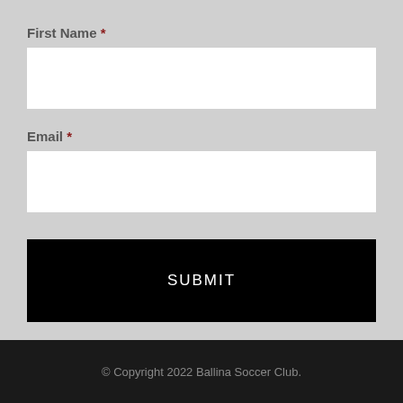First Name *
Email *
SUBMIT
© Copyright 2022 Ballina Soccer Club.